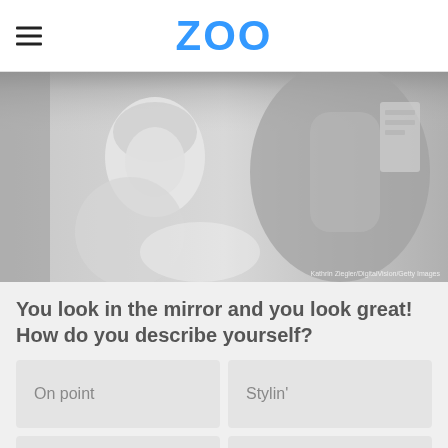ZOO
[Figure (photo): Grayscale photo of a young woman with blonde hair looking in a mirror, holding her hand to her head and smiling. Photo credit: Kathrin Ziegler/DigitalVision/Getty Images]
You look in the mirror and you look great! How do you describe yourself?
On point
Stylin'
On fleek
Slammin'